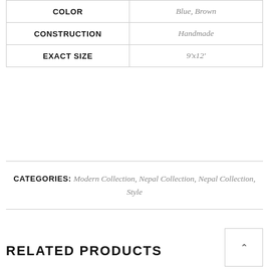| Attribute | Value |
| --- | --- |
| COLOR | Blue, Brown |
| CONSTRUCTION | Handmade |
| EXACT SIZE | 9'x12' |
CATEGORIES: Modern Collection, Nepal Collection, Nepal Collection, Style
RELATED PRODUCTS